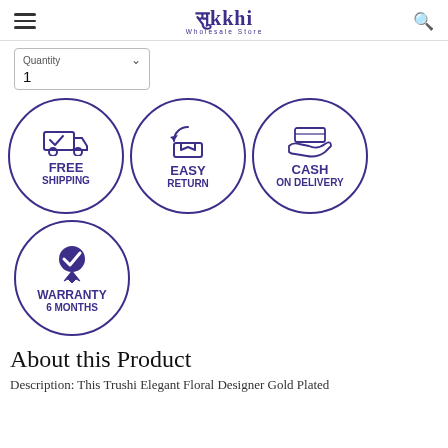Sukkhi Wholesale Store
Quantity 1
[Figure (infographic): Three circular badge icons: FREE SHIPPING (truck icon), EASY RETURN (open box icon), CASH ON DELIVERY (hand with cash icon)]
[Figure (infographic): Circular badge icon: WARRANTY 6 MONTHS (checkmark seal icon)]
About this Product
Description: This Trushi Elegant Floral Designer Gold Plated